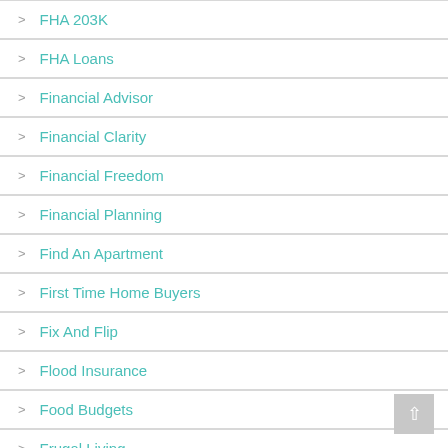FHA 203K
FHA Loans
Financial Advisor
Financial Clarity
Financial Freedom
Financial Planning
Find An Apartment
First Time Home Buyers
Fix And Flip
Flood Insurance
Food Budgets
Frugal Living
Health Insurance
Home